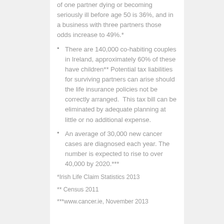of one partner dying or becoming seriously ill before age 50 is 36%, and in a business with three partners those odds increase to 49%.*
There are 140,000 co-habiting couples in Ireland, approximately 60% of these have children** Potential tax liabilities for surviving partners can arise should the life insurance policies not be correctly arranged.  This tax bill can be eliminated by adequate planning at little or no additional expense.
An average of 30,000 new cancer cases are diagnosed each year. The number is expected to rise to over 40,000 by 2020.***
*Irish Life Claim Statistics 2013
** Census 2011
***www.cancer.ie, November 2013